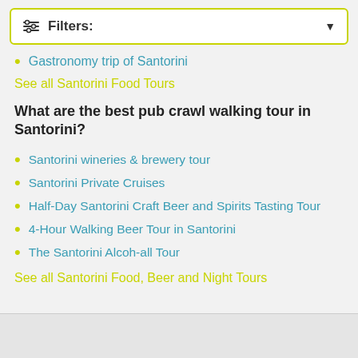Filters:
Gastronomy trip of Santorini
See all Santorini Food Tours
What are the best pub crawl walking tour in Santorini?
Santorini wineries & brewery tour
Santorini Private Cruises
Half-Day Santorini Craft Beer and Spirits Tasting Tour
4-Hour Walking Beer Tour in Santorini
The Santorini Alcoh-all Tour
See all Santorini Food, Beer and Night Tours